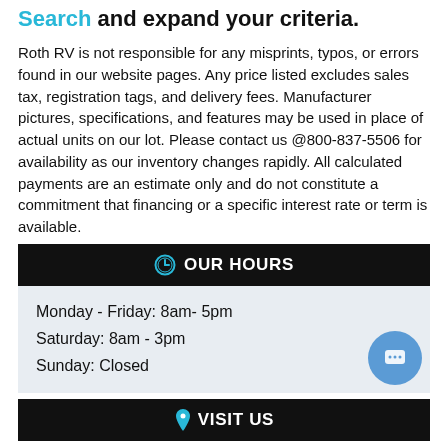Search and expand your criteria.
Roth RV is not responsible for any misprints, typos, or errors found in our website pages. Any price listed excludes sales tax, registration tags, and delivery fees. Manufacturer pictures, specifications, and features may be used in place of actual units on our lot. Please contact us @800-837-5506 for availability as our inventory changes rapidly. All calculated payments are an estimate only and do not constitute a commitment that financing or a specific interest rate or term is available.
OUR HOURS
Monday - Friday: 8am- 5pm
Saturday: 8am - 3pm
Sunday: Closed
VISIT US